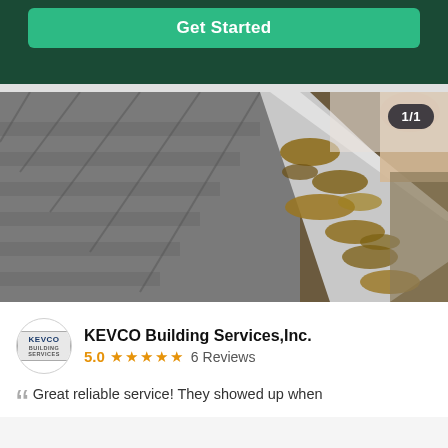Get Started
[Figure (photo): Close-up photo of a house roof gutter filled with dry leaves and debris, with a person's hands visible clearing the gutter. A white gutter channel is visible running diagonally. The counter badge shows 1/1.]
KEVCO Building Services,Inc.
5.0 ★★★★★ 6 Reviews
Great reliable service! They showed up when